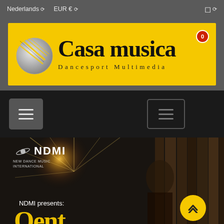Nederlands  EUR €
[Figure (logo): Casa musica Dancesport Multimedia logo on yellow banner with globe graphic]
[Figure (screenshot): Navigation bar with two hamburger menu buttons on dark background]
[Figure (photo): NDMI New Dance Music International product promotional image showing a dancer, with NDMI logo and text 'NDMI presents:' on dark background]